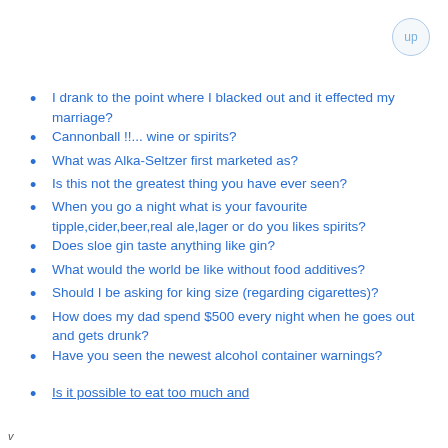I drank to the point where I blacked out and it effected my marriage?
Cannonball !!... wine or spirits?
What was Alka-Seltzer first marketed as?
Is this not the greatest thing you have ever seen?
When you go a night what is your favourite tipple,cider,beer,real ale,lager or do you likes spirits?
Does sloe gin taste anything like gin?
What would the world be like without food additives?
Should I be asking for king size (regarding cigarettes)?
How does my dad spend $500 every night when he goes out and gets drunk?
Have you seen the newest alcohol container warnings?
Is it possible to eat too much and